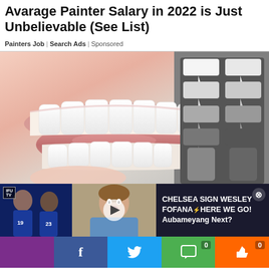Avarage Painter Salary in 2022 is Just Unbelievable (See List)
Painters Job | Search Ads | Sponsored
[Figure (photo): Close-up photo of a person smiling showing white teeth, with a dental shade guide/veneer color swatches held up for comparison on the right side]
[Figure (screenshot): Video banner overlay: left panel shows two soccer players in Chelsea blue kit with IFUTV logo, middle panel shows video thumbnail of a man with a play button, right panel shows text 'CHELSEA SIGN WESLEY FOFANA HERE WE GO! Aubameyang Next?' with close button]
[Figure (infographic): Social sharing bar with Facebook (blue), Twitter (blue), Comment (green with count 0), and Like/thumbs up (orange with count 0) buttons]